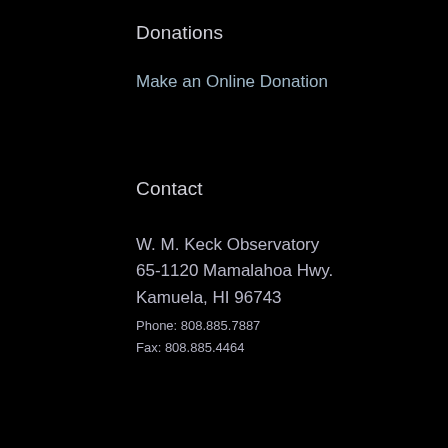Donations
Make an Online Donation
Contact
W. M. Keck Observatory
65-1120 Mamalahoa Hwy.
Kamuela, HI 96743
Phone: 808.885.7887
Fax: 808.885.4464
Connect
[Figure (logo): Hexagonal dark blue-gray icon with a white Facebook 'f' logo]